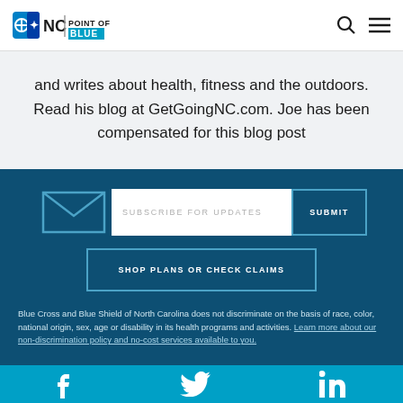NC POINT OF BLUE
and writes about health, fitness and the outdoors. Read his blog at GetGoingNC.com. Joe has been compensated for this blog post
[Figure (screenshot): Email subscribe form with input field, SUBMIT button, and SHOP PLANS OR CHECK CLAIMS button on dark blue background]
Blue Cross and Blue Shield of North Carolina does not discriminate on the basis of race, color, national origin, sex, age or disability in its health programs and activities. Learn more about our non-discrimination policy and no-cost services available to you.
[Figure (infographic): Social media bar with Facebook, Twitter, and LinkedIn icons on cyan/blue background]